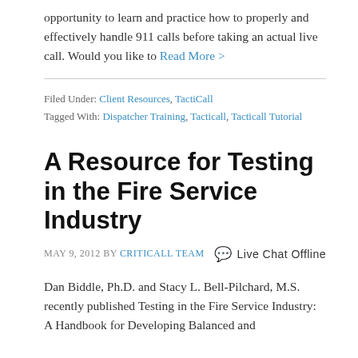opportunity to learn and practice how to properly and effectively handle 911 calls before taking an actual live call. Would you like to Read More >
Filed Under: Client Resources, TactiCall
Tagged With: Dispatcher Training, Tacticall, Tacticall Tutorial
A Resource for Testing in the Fire Service Industry
MAY 9, 2012 BY CRITICALL TEAM   Live Chat Offline
Dan Biddle, Ph.D. and Stacy L. Bell-Pilchard, M.S. recently published Testing in the Fire Service Industry: A Handbook for Developing Balanced and